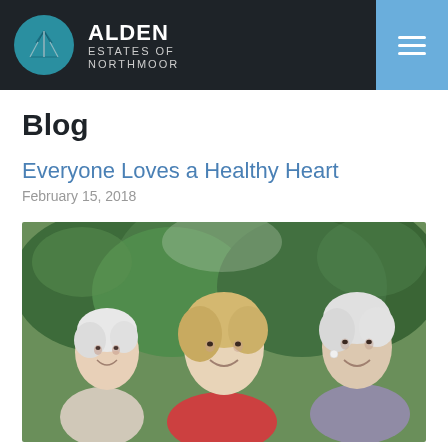ALDEN ESTATES OF NORTHMOOR
Blog
Everyone Loves a Healthy Heart
February 15, 2018
[Figure (photo): Three elderly women smiling and laughing together outdoors in front of green hedges. The women have white/grey/blonde hair and are dressed casually.]